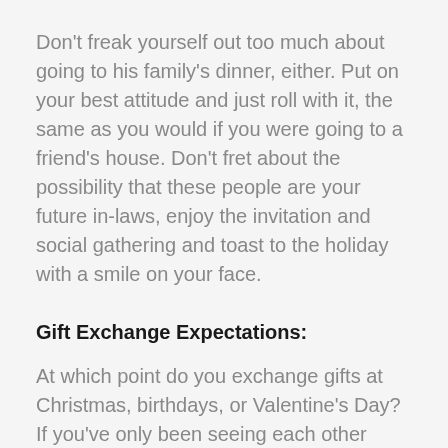Don't freak yourself out too much about going to his family's dinner, either. Put on your best attitude and just roll with it, the same as you would if you were going to a friend's house. Don't fret about the possibility that these people are your future in-laws, enjoy the invitation and social gathering and toast to the holiday with a smile on your face.
Gift Exchange Expectations:
At which point do you exchange gifts at Christmas, birthdays, or Valentine's Day? If you've only been seeing each other casually, keep the gift-giving casual. A $20 gift card for the liquor store or a couple of packs of his favourite gum are